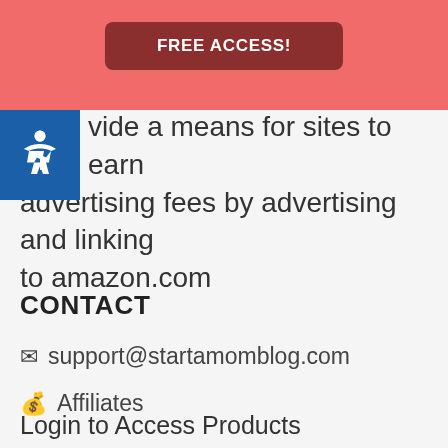[Figure (other): Red banner with FREE ACCESS! button]
ate advertising program designed to provide a means for sites to earn advertising fees by advertising and linking to amazon.com
CONTACT
✉ support@startamomblog.com
💰 Affiliates
Login to Access Products